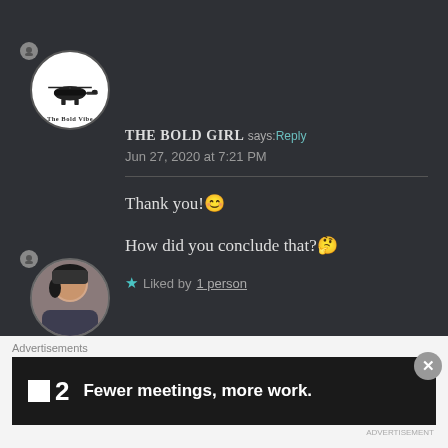THE BOLD GIRL says: Reply
Jun 27, 2020 at 7:21 PM
Thank you!😊

How did you conclude that?🤔
★ Liked by 1 person
ZAMADLOMO MKHABELA says: ↩ Reply
Advertisements
■2  Fewer meetings, more work.